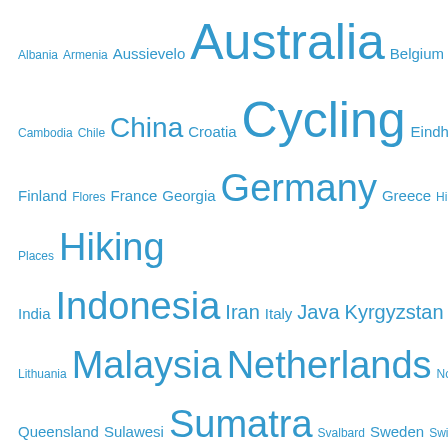[Figure (other): Tag cloud with travel and cycling related tags in various sizes, all in blue. Tags include Albania, Armenia, Aussievelo, Australia, Belgium, Bolivia, Borneo, Cambodia, Chile, China, Croatia, Cycling, Eindhoven, Estonia, Finland, Flores, France, Georgia, Germany, Greece, High Places, Hiking, India, Indonesia, Iran, Italy, Java, Kyrgyzstan, Laos, Latvia, Lithuania, Malaysia, Netherlands, Nordkapp, Norway, NSW, Poland, Queensland, Sulawesi, Sumatra, Svalbard, Sweden, Switzerland, Sydney Rides, Tajikistan, Thailand, Timor, Timor Leste, Turkey, Uzbekistan]
Archives
Select Month (dropdown)
Recent Posts
Chasing Sunsets – My Far North Queensland little cycle